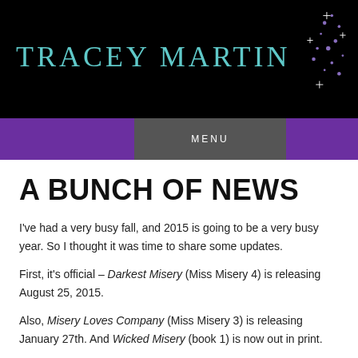TRACEY MARTIN
MENU
A BUNCH OF NEWS
I've had a very busy fall, and 2015 is going to be a very busy year. So I thought it was time to share some updates.
First, it's official – Darkest Misery (Miss Misery 4) is releasing August 25, 2015.
Also, Misery Loves Company (Miss Misery 3) is releasing January 27th. And Wicked Misery (book 1) is now out in print.